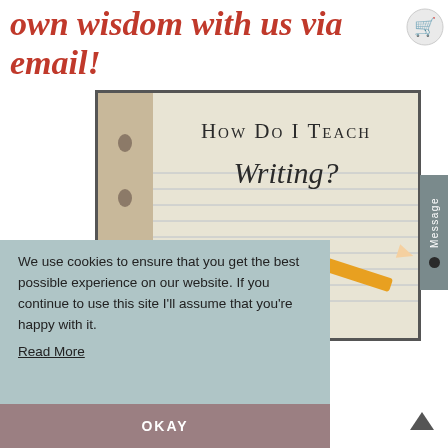own wisdom with us via email!
[Figure (illustration): Book/notebook background with pencil shavings and sharpener, overlaid with text 'How Do I Teach Writing?']
We use cookies to ensure that you get the best possible experience on our website. If you continue to use this site I'll assume that you're happy with it.
Read More
OKAY